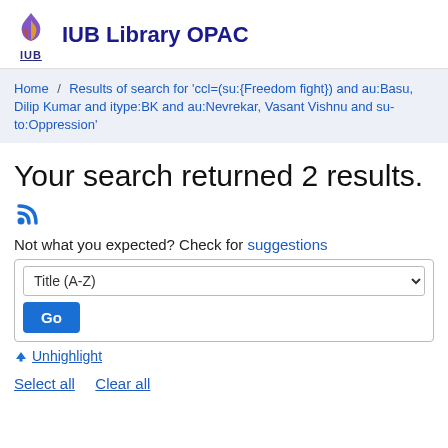IUB Library OPAC
Home / Results of search for 'ccl=(su:{Freedom fight}) and au:Basu, Dilip Kumar and itype:BK and au:Nevrekar, Vasant Vishnu and su-to:Oppression'
Your search returned 2 results.
Not what you expected? Check for suggestions
Title (A-Z)
Go
Unhighlight
Select all   Clear all